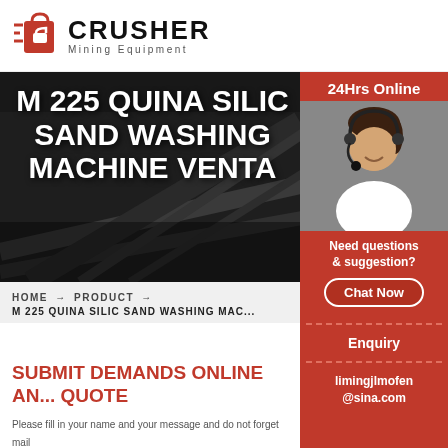[Figure (logo): Crusher Mining Equipment logo with red shopping bag icon and bold text]
M 225 QUINA SILIC SAND WASHING MACHINE VENTA
HOME → PRODUCT → M 225 QUINA SILIC SAND WASHING MAC...
SUBMIT DEMANDS ONLINE AND GET QUOTE
Please fill in your name and your message and do not forget mail
[Figure (photo): 24Hrs Online customer service representative with headset, smiling]
Need questions & suggestion?
Chat Now
Enquiry
limingjlmofen@sina.com